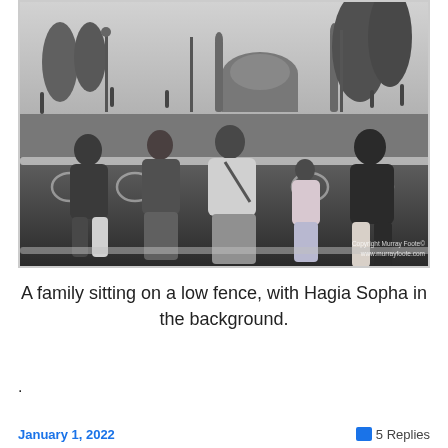[Figure (photo): Black and white photograph of a family sitting on a low ornate white fence, with Hagia Sophia visible in the background along with palm trees and a grassy area. Watermark reads 'Copyright Murray Foote / www.murrayfoote.com'.]
A family sitting on a low fence, with Hagia Sopha in the background.
.
January 1, 2022    5 Replies